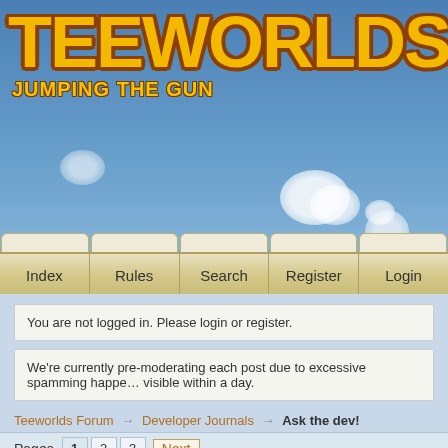[Figure (screenshot): Teeworlds forum website screenshot showing the blue-sky themed header with 'TEEWORLDS' logo in yellow/gold with dark brown outline, tagline 'JUMPING THE GUN' in yellow, navigation bar with Index/Rules/Search/Register/Login tabs, and forum content below]
TEEWORLDS
JUMPING THE GUN
Index | Rules | Search | Register | Login
You are not logged in. Please login or register.
We're currently pre-moderating each post due to excessive spamming happe... visible within a day.
Teeworlds Forum → Developer Journals → Ask the dev!
Pages 1 2 3 Next
Posts: 1 to 25 of 72
Landil
2012-02-07 21:06:04
I constantly get some questions by r... repeatedly asked and I do not want...